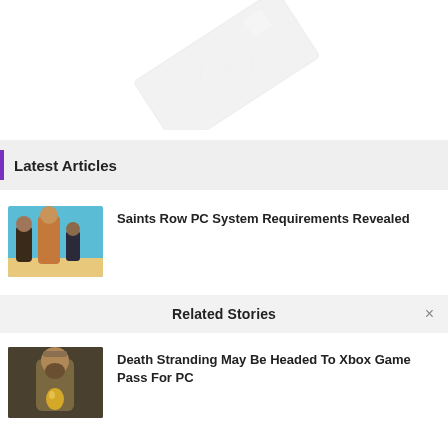[Figure (illustration): Faded/watermarked image of money bills arranged diagonally on white background]
Latest Articles
[Figure (photo): Saints Row game promotional image showing characters in a desert/sky setting]
Saints Row PC System Requirements Revealed
Related Stories
[Figure (photo): Death Stranding promotional image showing a bearded man holding a golden egg]
Death Stranding May Be Headed To Xbox Game Pass For PC